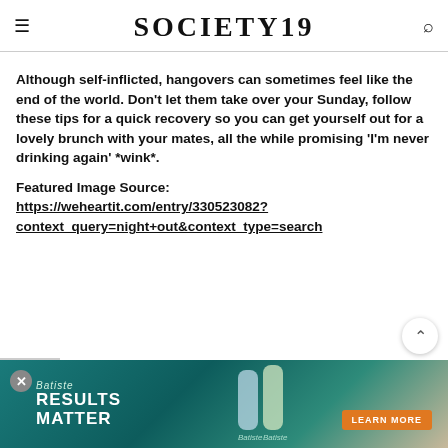SOCIETY19
Although self-inflicted, hangovers can sometimes feel like the end of the world. Don't let them take over your Sunday, follow these tips for a quick recovery so you can get yourself out for a lovely brunch with your mates, all the while promising 'I'm never drinking again' *wink*.
Featured Image Source: https://weheartit.com/entry/330523082?context_query=night+out&context_type=search
[Figure (photo): Batiste dry shampoo advertisement banner with 'Results Matter' tagline and 'Learn More' call-to-action button]